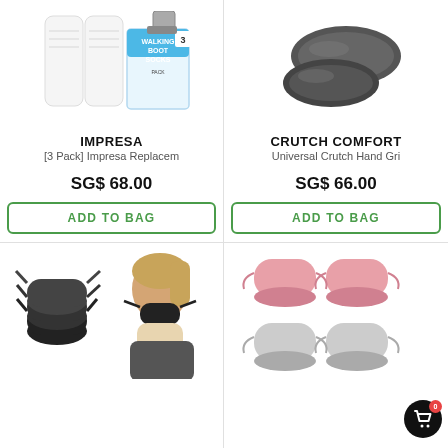[Figure (photo): White knee-high socks and a walking boot socks 3-pack package]
IMPRESA
[3 Pack] Impresa Replacem
SG$ 68.00
ADD TO BAG
[Figure (photo): Dark grey foam crutch hand grip covers]
CRUTCH COMFORT
Universal Crutch Hand Gri
SG$ 66.00
ADD TO BAG
[Figure (photo): Black face masks with ear loops and a woman wearing one]
[Figure (photo): Pink and grey face mask multipack on white background with shopping bag icon badge]